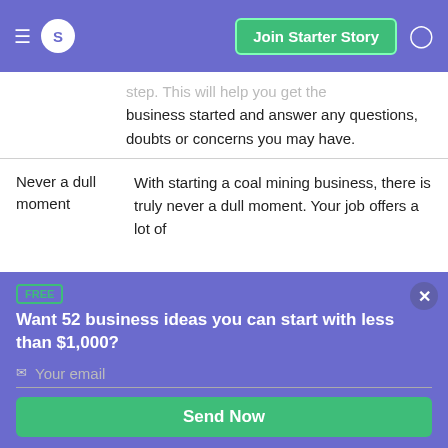S  Join Starter Story
step. This will help you get the business started and answer any questions, doubts or concerns you may have.
Never a dull moment	With starting a coal mining business, there is truly never a dull moment. Your job offers a lot of
FREE
Want 52 business ideas you can start with less than $1,000?
Your email
Send Now